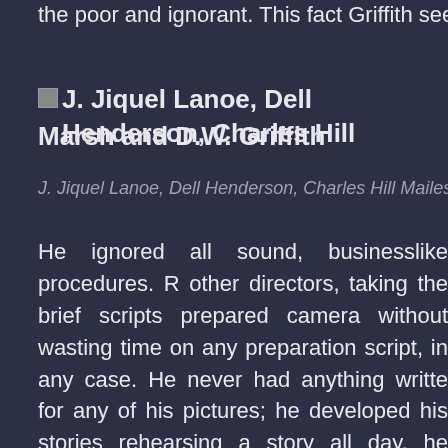the poor and ignorant. This fact Griffith seemed ob
[Figure (photo): Small image placeholder for photo of J. Jiquel Lanoe, Dell Henderson, Charles Hill Mailes, Robert Marsh and D.W. Griffith]
J. Jiquel Lanoe, Dell Henderson, Charles Hill Mailes, Robert Marsh and D.W. Griffith
J. Jiquel Lanoe, Dell Henderson, Charles Hill Mailes, Robe
He ignored all sound, businesslike procedures. R other directors, taking the brief scripts prepared camera without wasting time on any preparation script, in any case. He never had anything writte for any of his pictures; he developed his stories rehearsing a story all day, he would chuck it as uniquely, he insisted on rehearsing in sequence th scene dovetailed smoothly into the next, and th worked out his story by using his actors as if the